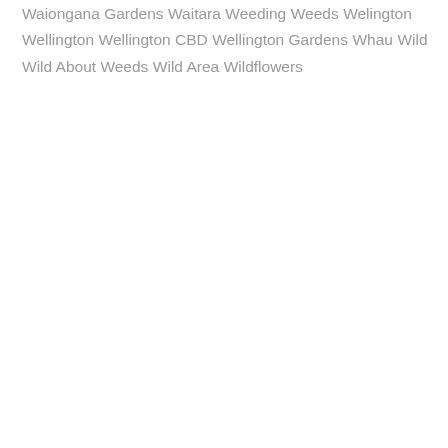Waiongana Gardens
Waitara
Weeding
Weeds
Welington
Wellington
Wellington CBD
Wellington Gardens
Whau
Wild
Wild About Weeds
Wild Area
Wildflowers